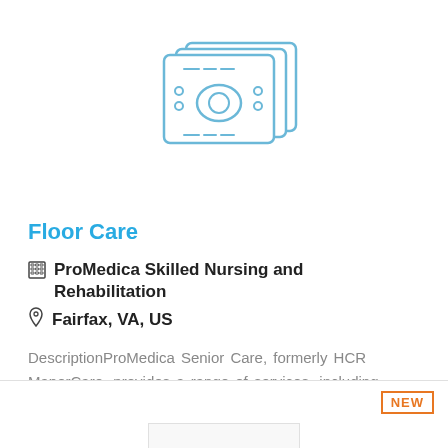[Figure (illustration): Icon of a floor care machine / buffer device shown in blue line art style]
Floor Care
ProMedica Skilled Nursing and Rehabilitation
Fairfax, VA, US
DescriptionProMedica Senior Care, formerly HCR ManorCare, provides a range of services, including skilled nursing care, assisted living, post-acute medical and rehabilitation care, hospice care, home ...
More Details
[Figure (other): Second listing card beginning, with NEW badge and empty image placeholder]